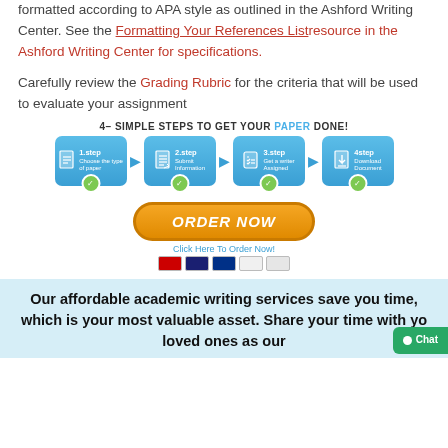formatted according to APA style as outlined in the Ashford Writing Center. See the Formatting Your References List resource in the Ashford Writing Center for specifications.
Carefully review the Grading Rubric for the criteria that will be used to evaluate your assignment
[Figure (infographic): 4 Simple Steps to Get Your Paper Done infographic with blue step boxes (1.step Choose the type of paper, 2.step Submit Information, 3.step Get a writer Assigned, 4step Download Document), orange ORDER NOW button, Click Here To Order Now link, and payment icons]
Our affordable academic writing services save you time, which is your most valuable asset. Share your time with your loved ones as our